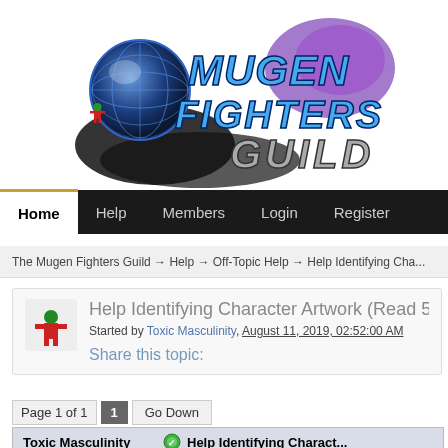[Figure (logo): Mugen Fighters Guild logo with globe, character, and stylized metallic text]
Home | Help | Members | Login | Register
The Mugen Fighters Guild → Help → Off-Topic Help → Help Identifying Cha...
Help Identifying Character Artwork (Read 531...
Started by Toxic Masculinity, August 11, 2019, 02:52:00 AM
Share this topic:
Page 1 of 1  [1]  Go Down
Toxic Masculinity   Help Identifying Chara...